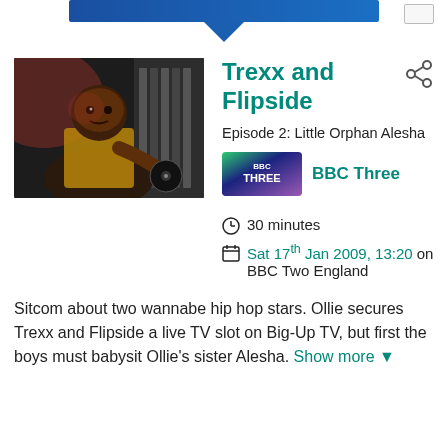[Figure (screenshot): Top navigation search bar with blue background and dropdown arrow]
[Figure (photo): Photo of a man DJing with vinyl records, wearing a gold chain and outfit]
Trexx and Flipside
Episode 2: Little Orphan Alesha
[Figure (logo): BBC Three channel logo badge with purple/green gradient background]
BBC Three
30 minutes
Sat 17th Jan 2009, 13:20 on BBC Two England
Sitcom about two wannabe hip hop stars. Ollie secures Trexx and Flipside a live TV slot on Big-Up TV, but first the boys must babysit Ollie's sister Alesha. Show more